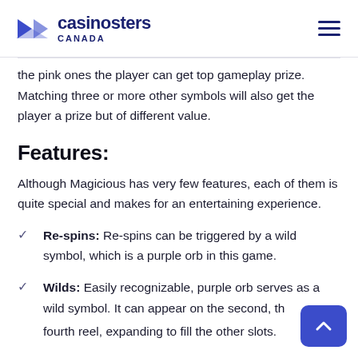casinosters CANADA
the pink ones the player can get top gameplay prize. Matching three or more other symbols will also get the player a prize but of different value.
Features:
Although Magicious has very few features, each of them is quite special and makes for an entertaining experience.
Re-spins: Re-spins can be triggered by a wild symbol, which is a purple orb in this game.
Wilds: Easily recognizable, purple orb serves as a wild symbol. It can appear on the second, the fourth reel, expanding to fill the other slots.